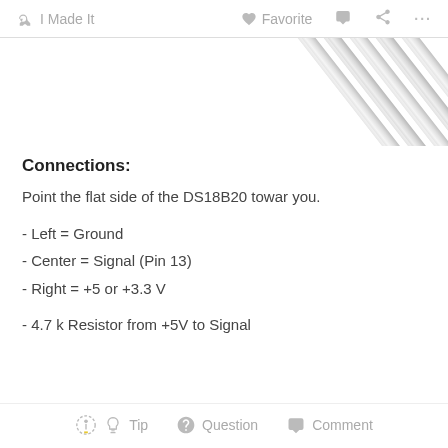I Made It   Favorite   Comment   Share   ...
[Figure (photo): Partial view of metallic rods or wires arranged diagonally, visible in the upper right corner of the page.]
Connections:
Point the flat side of the DS18B20 towar you.
- Left = Ground
- Center = Signal (Pin 13)
- Right = +5 or +3.3 V
- 4.7 k Resistor from +5V to Signal
Tip   Question   Comment